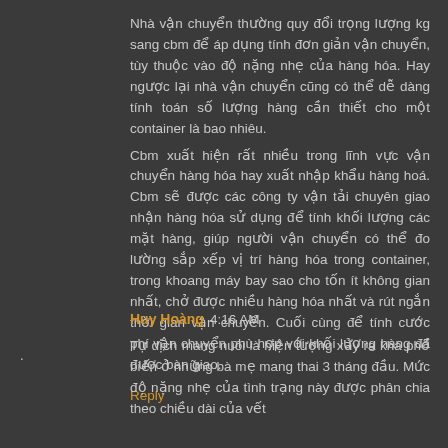Nhà vận chuyển thường quy đổi trọng lượng kg sang cbm để áp dụng tính đơn giản vận chuyển, tùy thuộc vào độ nặng nhẹ của hàng hóa. Hay ngược lại nhà vận chuyển cũng có thể dễ dàng tính toán số lượng hàng cần thiết cho một container là bao nhiêu.
Cbm xuất hiện rất nhiều trong lĩnh vực vận chuyển hàng hóa hay xuất nhập khẩu hàng hoá. Cbm sẽ được các công ty vận tải chuyên giao nhận hàng hóa sử dụng để tính khối lượng các mặt hàng, giúp người vận chuyển có thể đo lường sắp xếp vị trí hàng hóa trong container, trong khoang máy bay sao cho tốn ít không gian nhất, chở được nhiều hàng hóa nhất và rút ngắn thời gian vận chuyển. Cuối cùng để tính cước phí vận chuyển phù hợp với khối lượng hàng đã được bàn giao.
Reply
Huy Hoàng 4:16 AM
Tự dịch màng nuôi là hiện tượng xảy ra khá phổ biến ở những bà mẹ mang thai 3 tháng đầu. Mức độ nặng nhẹ của tình trạng này được phân chia theo chiều dài của vết...